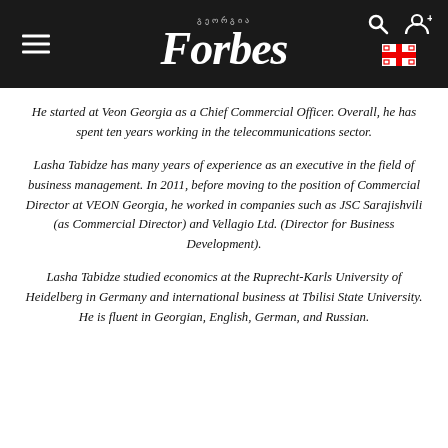Forbes Georgia
He started at Veon Georgia as a Chief Commercial Officer. Overall, he has spent ten years working in the telecommunications sector.
Lasha Tabidze has many years of experience as an executive in the field of business management. In 2011, before moving to the position of Commercial Director at VEON Georgia, he worked in companies such as JSC Sarajishvili (as Commercial Director) and Vellagio Ltd. (Director for Business Development).
Lasha Tabidze studied economics at the Ruprecht-Karls University of Heidelberg in Germany and international business at Tbilisi State University. He is fluent in Georgian, English, German, and Russian.